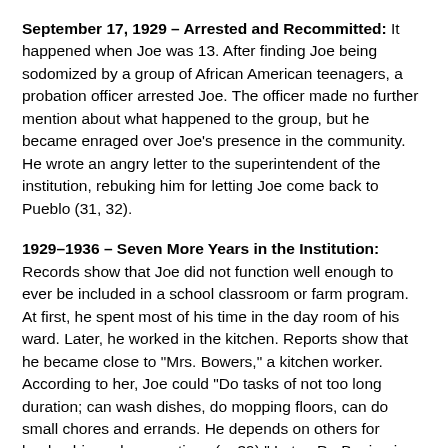September 17, 1929 – Arrested and Recommitted: It happened when Joe was 13. After finding Joe being sodomized by a group of African American teenagers, a probation officer arrested Joe. The officer made no further mention about what happened to the group, but he became enraged over Joe's presence in the community. He wrote an angry letter to the superintendent of the institution, rebuking him for letting Joe come back to Pueblo (31, 32).
1929–1936 – Seven More Years in the Institution: Records show that Joe did not function well enough to ever be included in a school classroom or farm program. At first, he spent most of his time in the day room of his ward. Later, he worked in the kitchen. Reports show that he became close to "Mrs. Bowers," a kitchen worker. According to her, Joe could "Do tasks of not too long duration; can wash dishes, do mopping floors, can do small chores and errands. He depends on others for leadership and suggestions (p. 39)." Later, Dr. Benjamin Jefferson, the